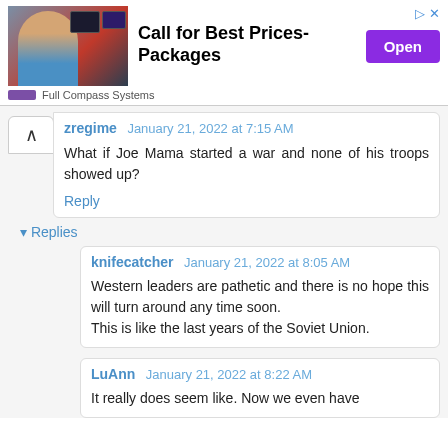[Figure (other): Advertisement banner for Full Compass Systems with photo of a man in front of screens, headline 'Call for Best Prices-Packages', and an Open button]
zregime January 21, 2022 at 7:15 AM
What if Joe Mama started a war and none of his troops showed up?
Reply
▾ Replies
knifecatcher January 21, 2022 at 8:05 AM
Western leaders are pathetic and there is no hope this will turn around any time soon.
This is like the last years of the Soviet Union.
LuAnn January 21, 2022 at 8:22 AM
It really does seem like. Now we even have